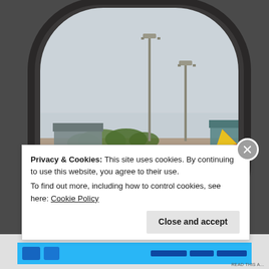[Figure (photo): View through an airplane window showing an airport tarmac. A red and yellow Vietjet Air aircraft is parked at a gate with ground support equipment around it. Two tall light poles visible against a hazy grey sky. Trees and airport buildings in the background.]
Privacy & Cookies: This site uses cookies. By continuing to use this website, you agree to their use.
To find out more, including how to control cookies, see here: Cookie Policy
Close and accept